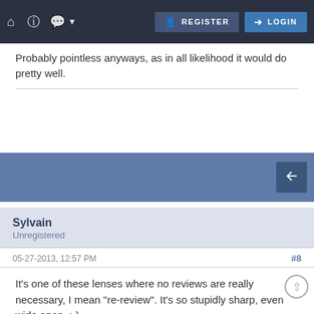Home | Help | Chat | Register | Login
Probably pointless anyways, as in all likelihood it would do pretty well.
[Figure (screenshot): Blue action bar with a reply/back button icon on the right]
Sylvain
Unregistered
05-27-2013, 12:57 PM  #8
It's one of these lenses where no reviews are really necessary, I mean "re-review". It's so stupidly sharp, even wide open. :-)

still dreaming about a mkII with a proper motorisation.